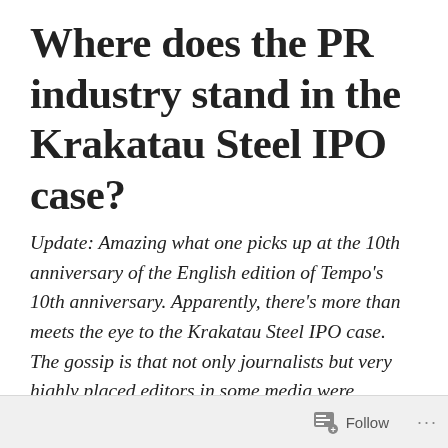Where does the PR industry stand in the Krakatau Steel IPO case?
Update: Amazing what one picks up at the 10th anniversary of the English edition of Tempo's 10th anniversary. Apparently, there's more than meets the eye to the Krakatau Steel IPO case. The gossip is that not only journalists but very highly placed editors in some media were offered, and accepted, money. The report to the Press Council came about because some elements wanted more than what they were given. And some “opposition” party officials had made a killing because he was sold Krakatau shares at deep
Follow ···